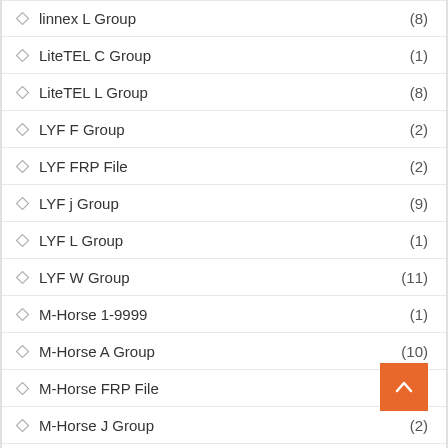linnex L Group (8)
LiteTEL C Group (1)
LiteTEL L Group (8)
LYF F Group (2)
LYF FRP File (2)
LYF j Group (9)
LYF L Group (1)
LYF W Group (11)
M-Horse 1-9999 (1)
M-Horse A Group (10)
M-Horse FRP File (21)
M-Horse J Group (2)